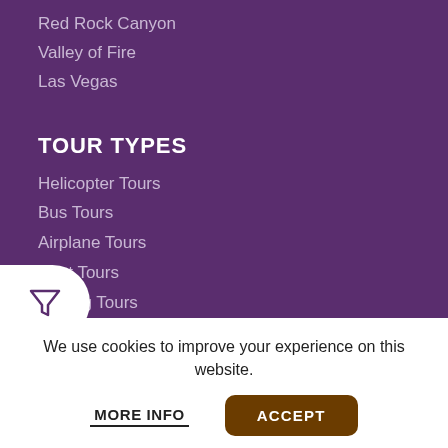Red Rock Canyon
Valley of Fire
Las Vegas
TOUR TYPES
Helicopter Tours
Bus Tours
Airplane Tours
Boat Tours
Rafting Tours
Tour Packages
We use cookies to improve your experience on this website.
MORE INFO
ACCEPT